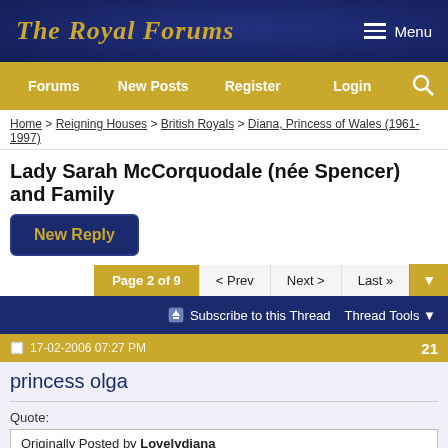The Royal Forums
Forums | New Posts | Register | Login
Home > Reigning Houses > British Royals > Diana, Princess of Wales (1961-1997)
Lady Sarah McCorquodale (née Spencer) and Family
New Reply
Page 2 of 9 | < Prev | Next > | Last »
Subscribe to this Thread | Thread Tools
17-02-2006 07:27 PM | 21
princess olga
Quote:
Originally Posted by Lovelydiana